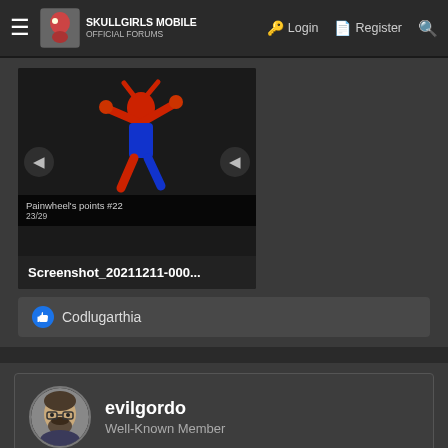Skullgirls Mobile Official Forums — Login | Register
[Figure (screenshot): Game screenshot thumbnail showing a character sprite with navigation arrows, titled 'Screenshot_20211211-000...']
Codlugarthia
evilgordo
Well-Known Member
Joined: Jul 30, 2018  Messages: 232  Reaction score: 443
Points: 63
Dec 10, 2021  #11